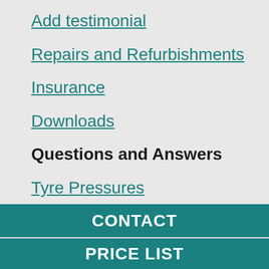Add testimonial
Repairs and Refurbishments
Insurance
Downloads
Questions and Answers
Tyre Pressures
CONTACT
PRICE LIST